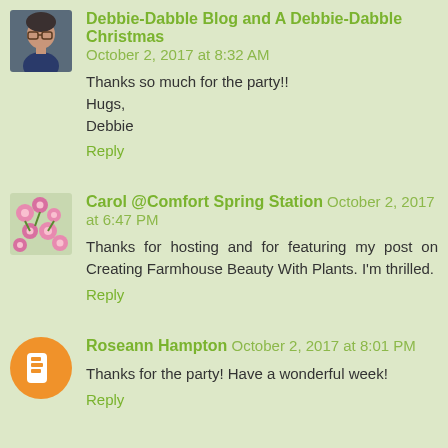Debbie-Dabble Blog and A Debbie-Dabble Christmas  October 2, 2017 at 8:32 AM
Thanks so much for the party!!
Hugs,
Debbie
Reply
Carol @Comfort Spring Station  October 2, 2017 at 6:47 PM
Thanks for hosting and for featuring my post on Creating Farmhouse Beauty With Plants. I'm thrilled.
Reply
Roseann Hampton  October 2, 2017 at 8:01 PM
Thanks for the party! Have a wonderful week!
Reply